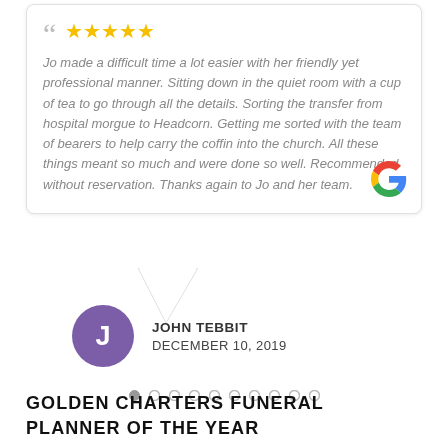Jo made a difficult time a lot easier with her friendly yet professional manner. Sitting down in the quiet room with a cup of tea to go through all the details. Sorting the transfer from hospital morgue to Headcorn. Getting me sorted with the team of bearers to help carry the coffin into the church. All these things meant so much and were done so well. Recommended without reservation. Thanks again to Jo and her team.
JOHN TEBBIT
DECEMBER 10, 2019
GOLDEN CHARTERS FUNERAL PLANNER OF THE YEAR